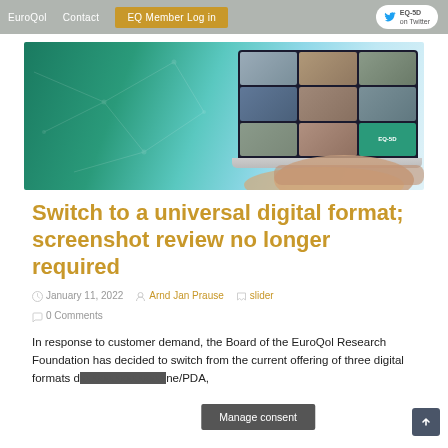EuroQol  Contact  EQ Member Log in  EQ-5D on Twitter
[Figure (screenshot): Hero banner image showing a laptop with a video call grid of people, EQ-5D branding visible, on a teal/green gradient background with network lines.]
Switch to a universal digital format; screenshot review no longer required
January 11, 2022  Arnd Jan Prause  slider  0 Comments
In response to customer demand, the Board of the EuroQol Research Foundation has decided to switch from the current offering of three digital formats d  ne/PDA,